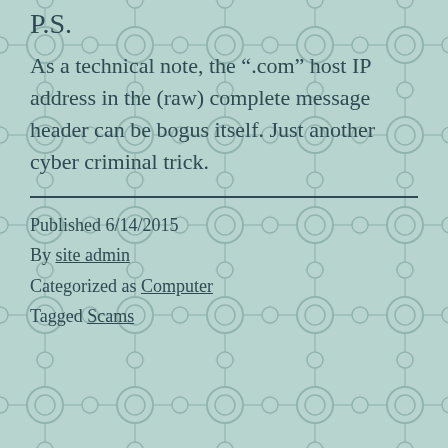P.S.
As a technical note, the “.com” host IP address in the (raw) complete message header can be bogus itself. Just another cyber criminal trick.
Published 6/14/2015
By site admin
Categorized as Computer
Tagged Scams